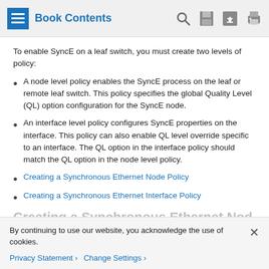Book Contents
To enable SyncE on a leaf switch, you must create two levels of policy:
A node level policy enables the SyncE process on the leaf or remote leaf switch. This policy specifies the global Quality Level (QL) option configuration for the SyncE node.
An interface level policy configures SyncE properties on the interface. This policy can also enable QL level override specific to an interface. The QL option in the interface policy should match the QL option in the node level policy.
Creating a Synchronous Ethernet Node Policy
Creating a Synchronous Ethernet Interface Policy
Creating a Synchronous Ethernet Node... (truncated heading)
By continuing to use our website, you acknowledge the use of cookies.
Privacy Statement > Change Settings >